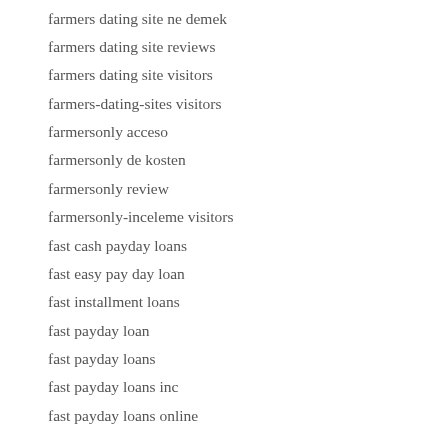farmers dating site ne demek
farmers dating site reviews
farmers dating site visitors
farmers-dating-sites visitors
farmersonly acceso
farmersonly de kosten
farmersonly review
farmersonly-inceleme visitors
fast cash payday loans
fast easy pay day loan
fast installment loans
fast payday loan
fast payday loans
fast payday loans inc
fast payday loans online